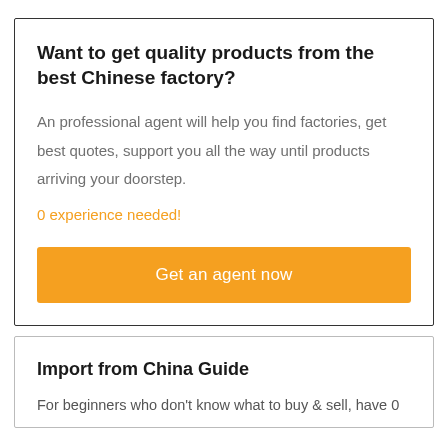Want to get quality products from the best Chinese factory?
An professional agent will help you find factories, get best quotes, support you all the way until products arriving your doorstep.
0 experience needed!
Get an agent now
Import from China Guide
For beginners who don't know what to buy & sell, have 0